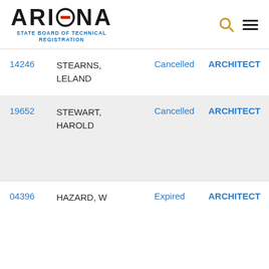ARIZONA STATE BOARD OF TECHNICAL REGISTRATION
| ID | Name | Status | Type |
| --- | --- | --- | --- |
| 14246 | STEARNS, LELAND | Cancelled | ARCHITECT |
| 19652 | STEWART, HAROLD | Cancelled | ARCHITECT |
| 04396 | HAZARD, W | Expired | ARCHITECT |